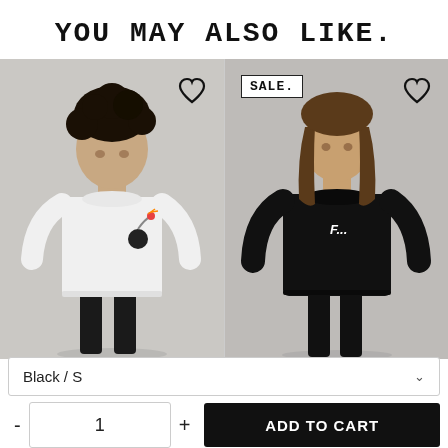YOU MAY ALSO LIKE.
[Figure (photo): Man wearing white t-shirt with bomb graphic, on light grey background]
[Figure (photo): Man wearing black t-shirt with 'F...' text graphic, with SALE badge, on grey background]
Black / S
- 1 + ADD TO CART